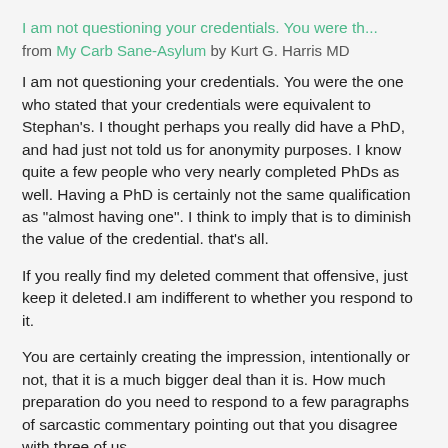I am not questioning your credentials. You were th...
from My Carb Sane-Asylum by Kurt G. Harris MD
I am not questioning your credentials. You were the one who stated that your credentials were equivalent to Stephan's. I thought perhaps you really did have a PhD, and had just not told us for anonymity purposes. I know quite a few people who very nearly completed PhDs as well. Having a PhD is certainly not the same qualification as "almost having one". I think to imply that is to diminish the value of the credential. that's all.
If you really find my deleted comment that offensive, just keep it deleted.I am indifferent to whether you respond to it.
You are certainly creating the impression, intentionally or not, that it is a much bigger deal than it is. How much preparation do you need to respond to a few paragraphs of sarcastic commentary pointing out that you disagree with three of us